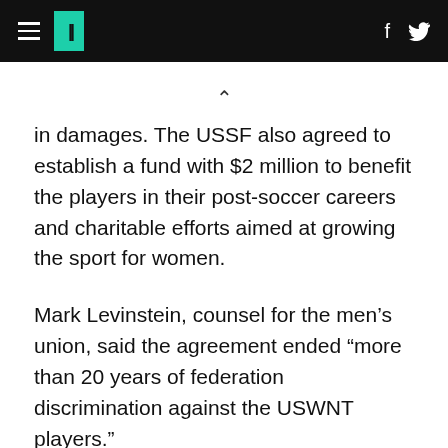HuffPost navigation header with hamburger menu, logo, Facebook and Twitter icons
in damages. The USSF also agreed to establish a fund with $2 million to benefit the players in their post-soccer careers and charitable efforts aimed at growing the sport for women.
Mark Levinstein, counsel for the men’s union, said the agreement ended “more than 20 years of federation discrimination against the USWNT players.”
“Together with the USWNTPA, the USMNT players achieved what everyone said was impossible…